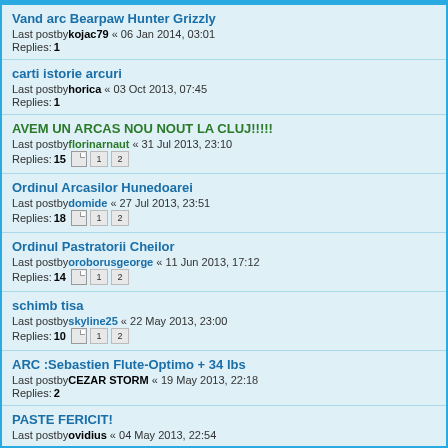Vand arc Bearpaw Hunter Grizzly
Last postby kojac79 « 06 Jan 2014, 03:01
Replies: 1
carti istorie arcuri
Last postby horica « 03 Oct 2013, 07:45
Replies: 1
AVEM UN ARCAS NOU NOUT LA CLUJ!!!!!
Last postby florinarnaut « 31 Jul 2013, 23:10
Replies: 15 [1][2]
Ordinul Arcasilor Hunedoarei
Last postby domide « 27 Jul 2013, 23:51
Replies: 18 [1][2]
Ordinul Pastratorii Cheilor
Last postby oroborusgeorge « 11 Jun 2013, 17:12
Replies: 14 [1][2]
schimb tisa
Last postby skyline25 « 22 May 2013, 23:00
Replies: 10 [1][2]
ARC :Sebastien Flute-Optimo + 34 lbs
Last postby CEZAR STORM « 19 May 2013, 22:18
Replies: 2
PASTE FERICIT!
Last postby ovidius « 04 May 2013, 22:54